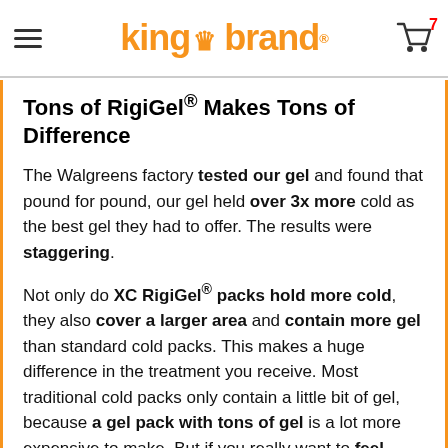king brand (logo) — cart with 7 items
Tons of RigiGel® Makes Tons of Difference
The Walgreens factory tested our gel and found that pound for pound, our gel held over 3x more cold as the best gel they had to offer. The results were staggering.
Not only do XC RigiGel® packs hold more cold, they also cover a larger area and contain more gel than standard cold packs. This makes a huge difference in the treatment you receive. Most traditional cold packs only contain a little bit of gel, because a gel pack with tons of gel is a lot more expensive to make. But if you really want to feel better and reduce your pain and swelling, a gel pack with tons of gel is exactly what you need. XC RigiGel® packs are the ultimate solution. A bigger pack with more gel inside means faster and more